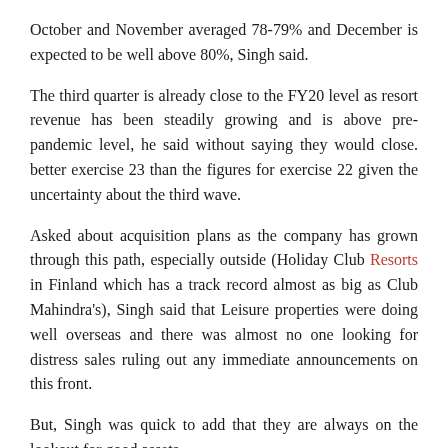October and November averaged 78-79% and December is expected to be well above 80%, Singh said.
The third quarter is already close to the FY20 level as resort revenue has been steadily growing and is above pre-pandemic level, he said without saying they would close. better exercise 23 than the figures for exercise 22 given the uncertainty about the third wave.
Asked about acquisition plans as the company has grown through this path, especially outside (Holiday Club Resorts in Finland which has a track record almost as big as Club Mahindra's), Singh said that Leisure properties were doing well overseas and there was almost no one looking for distress sales ruling out any immediate announcements on this front.
But, Singh was quick to add that they are always on the lookout for good assets.
On how they might weather the pandemic storm, Singh said Club Mahindra has a unique business model in which its occupancy is assured, as it is a members-only timeshare club. He added that 96% of an initial